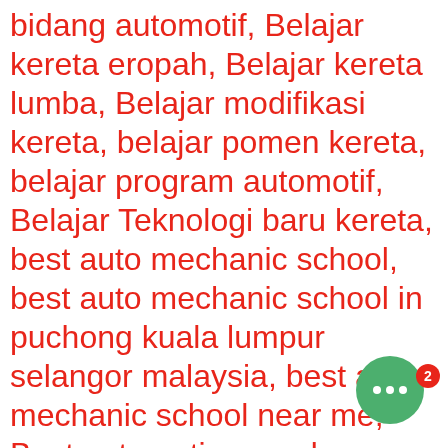bidang automotif, Belajar kereta eropah, Belajar kereta lumba, Belajar modifikasi kereta, belajar pomen kereta, belajar program automotif, Belajar Teknologi baru kereta, best auto mechanic school, best auto mechanic school in puchong kuala lumpur selangor malaysia, best auto mechanic school near me, Best automotive academy, Best automotive college, best automotive college in malaysia, Best automotive school, best automotive technology colleges, best independent porsche specialist near me, best porsche repair near me, car ac repair course, car body repair course, car dent repair course, car electronics repair course,
[Figure (other): Green circular chat bubble icon with three white dots and a red notification badge showing the number 2]